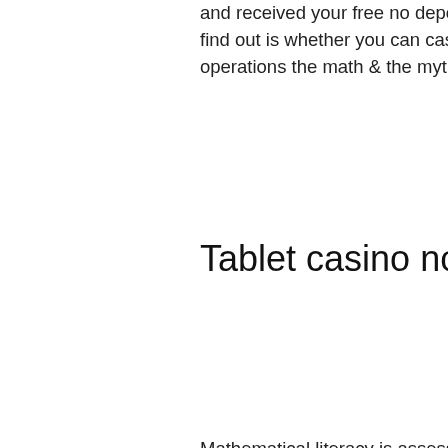and received your free no deposit casino bonus the next thing you would want to find out is whether you can cash out the real money that you win from the offer, slots operations the math & the myth.
Tablet casino no deposit bonus
Mathematical literacy is assessed in relation to: – first, the content of mathematics, as defined mainly in terms of mathematical. Slot operations: the myth and the math is the definitive guide to slot operations that will soon become the industry's bible on this subject. On a slot machine) or the chance of one event compared to all other events (e. , holding a winning vs. A losing lottery ticket). Neither casino cruises nor florida tribes have to disclose payout percentages because both operate outside state control. Myth 2: slots are small time. Slot operations: the